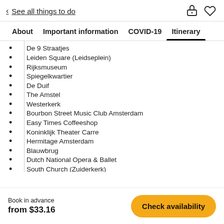< See all things to do
About | Important information | COVID-19 | Itinerary
De 9 Straatjes
Leiden Square (Leidseplein)
Rijksmuseum
Spiegelkwartier
De Duif
The Amstel
Westerkerk
Bourbon Street Music Club Amsterdam
Easy Times Coffeeshop
Koninklijk Theater Carre
Hermitage Amsterdam
Blauwbrug
Dutch National Opera & Ballet
South Church (Zuiderkerk)
Book in advance
from $33.16
Check availability